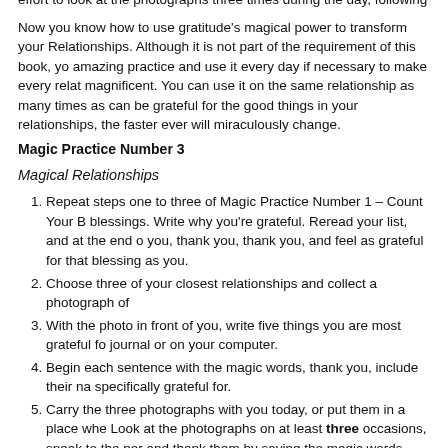effort to look at the photographs three times during the day, following t
Now you know how to use gratitude's magical power to transform your Relationships. Although it is not part of the requirement of this book, you amazing practice and use it every day if necessary to make every rela magnificent. You can use it on the same relationship as many times as can be grateful for the good things in your relationships, the faster eve will miraculously change.
Magic Practice Number 3
Magical Relationships
Repeat steps one to three of Magic Practice Number 1 – Count Your B blessings. Write why you're grateful. Reread your list, and at the end o you, thank you, thank you, and feel as grateful for that blessing as you
Choose three of your closest relationships and collect a photograph of
With the photo in front of you, write five things you are most grateful fo journal or on your computer.
Begin each sentence with the magic words, thank you, include their na specifically grateful for.
Carry the three photographs with you today, or put them in a place wh Look at the photographs on at least three occasions, speak to the per and thank them by saying the magic words, thank you, and their name
Before you go to sleep, take your Magic Rock in one hand, and say th